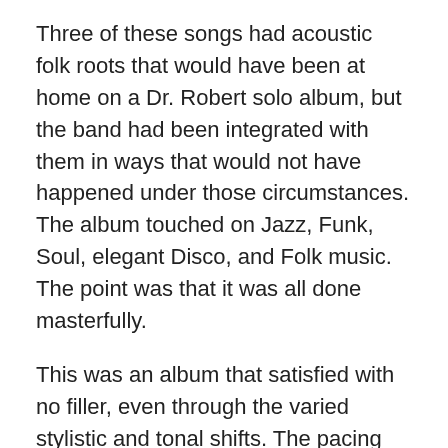Three of these songs had acoustic folk roots that would have been at home on a Dr. Robert solo album, but the band had been integrated with them in ways that would not have happened under those circumstances. The album touched on Jazz, Funk, Soul, elegant Disco, and Folk music. The point was that it was all done masterfully.
This was an album that satisfied with no filler, even through the varied stylistic and tonal shifts. The pacing and sequencing was such that the album unfolded in a supremely satisfying arc. With all contributors getting their chance to make it really shine. After an 18 year layoff, the band reconvened and were clearly fighting strong and ready to pick up, not where they left off, but streets ahead. The band returned to the studio even stronger than when they had stepped down. I was immediately impressed with “Devils’ Tavern” on receipt and the intervening 14 years